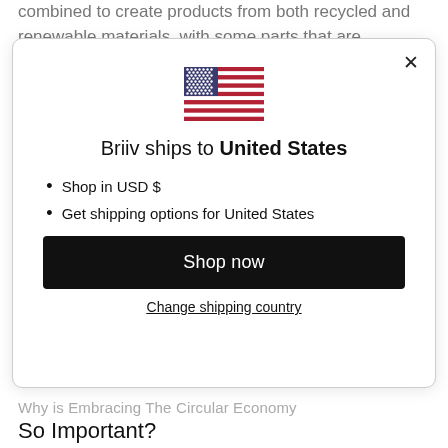combined to create products from both recycled and renewable materials, with some parts that are
[Figure (screenshot): A modal dialog box showing a US flag emoji, the text 'Briiv ships to United States', bullet points 'Shop in USD $' and 'Get shipping options for United States', a black 'Shop now' button, and a 'Change shipping country' link. A close X button is in the top right corner.]
Why is Embracing The Circular Economy So Important?